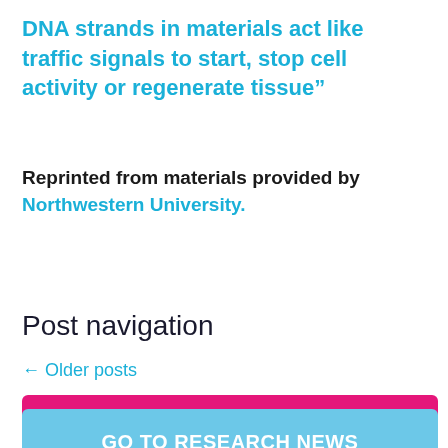DNA strands in materials act like traffic signals to start, stop cell activity or regenerate tissue”
Reprinted from materials provided by Northwestern University.
Post navigation
← Older posts
GO TO JPND NEWS
GO TO RESEARCH NEWS